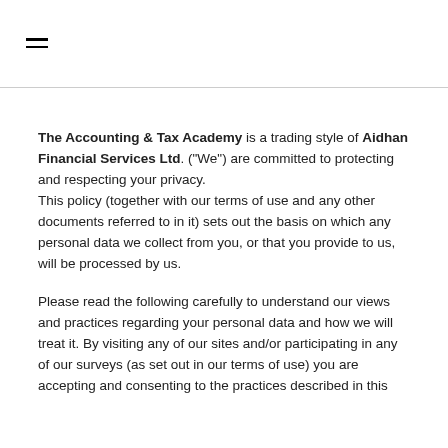☰
The Accounting & Tax Academy is a trading style of Aidhan Financial Services Ltd. ("We") are committed to protecting and respecting your privacy.
This policy (together with our terms of use and any other documents referred to in it) sets out the basis on which any personal data we collect from you, or that you provide to us, will be processed by us.
Please read the following carefully to understand our views and practices regarding your personal data and how we will treat it. By visiting any of our sites and/or participating in any of our surveys (as set out in our terms of use) you are accepting and consenting to the practices described in this